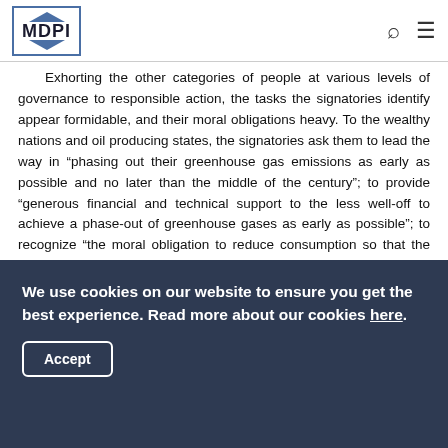MDPI
Exhorting the other categories of people at various levels of governance to responsible action, the tasks the signatories identify appear formidable, and their moral obligations heavy. To the wealthy nations and oil producing states, the signatories ask them to lead the way in “phasing out their greenhouse gas emissions as early as possible and no later than the middle of the century”; to provide “generous financial and technical support to the less well-off to achieve a phase-out of greenhouse gases as early as possible”; to recognize “the moral obligation to reduce consumption so that the poor may benefit from what is left of the earth’s non-renewable resources”; to stay within “the ‘2 degree’ limit, or, preferably, within the ‘1.5 degree’
We use cookies on our website to ensure you get the best experience. Read more about our cookies here.
Accept